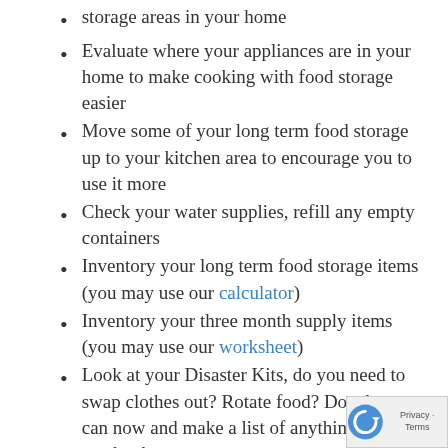storage areas in your home
Evaluate where your appliances are in your home to make cooking with food storage easier
Move some of your long term food storage up to your kitchen area to encourage you to use it more
Check your water supplies, refill any empty containers
Inventory your long term food storage items (you may use our calculator)
Inventory your three month supply items (you may use our worksheet)
Look at your Disaster Kits, do you need to swap clothes out? Rotate food? Do what you can now and make a list of anything you may need to buy